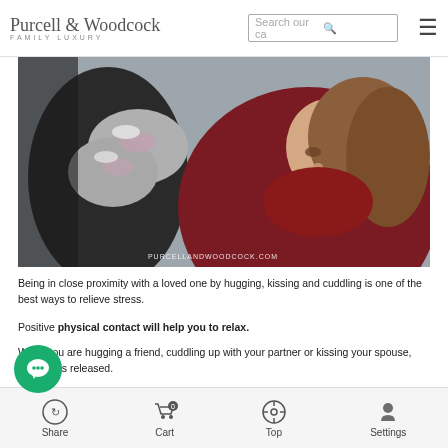Purcell & Woodcock FAMILY LUXURY | Search our ca [search icon] [menu icon]
[Figure (photo): A couple hugging outdoors in winter, woman wearing red coat and knit mittens, man in dark jacket, close intimate embrace. Watermark: PURCELLANDWOODCOCK.COM]
Being in close proximity with a loved one by hugging, kissing and cuddling is one of the best ways to relieve stress.
Positive physical contact will help you to relax.
While you are hugging a friend, cuddling up with your partner or kissing your spouse, oxytocin is released.
This lowers cortisol levels and blood pressure, and in turn stress is reduced.
Music
Share | Cart 0 | Top | Settings